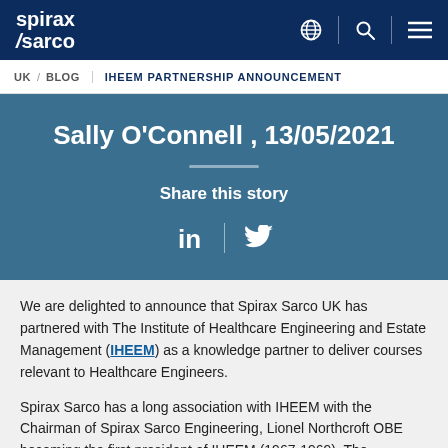spirax sarco
UK / BLOG   IHEEM PARTNERSHIP ANNOUNCEMENT
Sally O'Connell , 13/05/2021
Share this story
We are delighted to announce that Spirax Sarco UK has partnered with The Institute of Healthcare Engineering and Estate Management (IHEEM) as a knowledge partner to deliver courses relevant to Healthcare Engineers.
Spirax Sarco has a long association with IHEEM with the Chairman of Spirax Sarco Engineering, Lionel Northcroft OBE becoming the first president of IHEEM (1967-1969). The